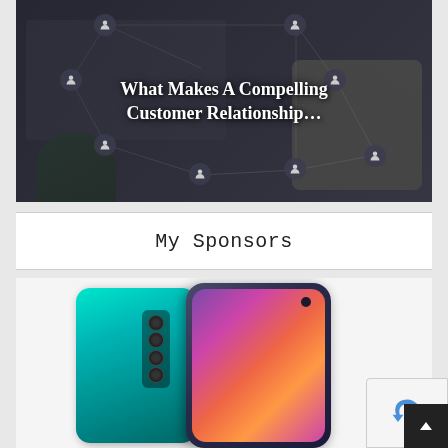[Figure (photo): Dark background hero image showing a desk with keyboard, hands, and a smartphone, overlaid with network connection icons and person silhouettes. White text reads 'What Makes A Compelling Customer Relationship...']
What Makes A Compelling Customer Relationship...
My Sponsors
[Figure (photo): Product photo of a teal/cyan smartphone shown from the back and front. The back shows a quad-camera module. The front shows a vibrant colorful gradient screen (purple, pink, orange) with a punch-hole camera.]